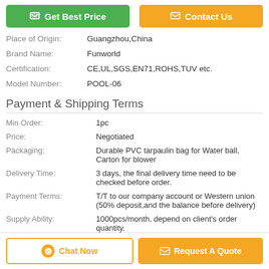[Figure (other): Two buttons: Get Best Price (green) and Contact Us (orange)]
| Place of Origin: | Guangzhou,China |
| Brand Name: | Funworld |
| Certification: | CE,UL,SGS,EN71,ROHS,TUV etc. |
| Model Number: | POOL-06 |
Payment & Shipping Terms
| Min Order: | 1pc |
| Price: | Negotiated |
| Packaging: | Durable PVC tarpaulin bag for Water ball, Carton for blower |
| Delivery Time: | 3 days, the final delivery time need to be checked before order. |
| Payment Terms: | T/T to our company account or Western union (50% deposit,and the balance before delivery) |
| Supply Ability: | 1000pcs/month, depend on client's order quantity. |
[Figure (other): Bottom bar with Chat Now and Request A Quote buttons]